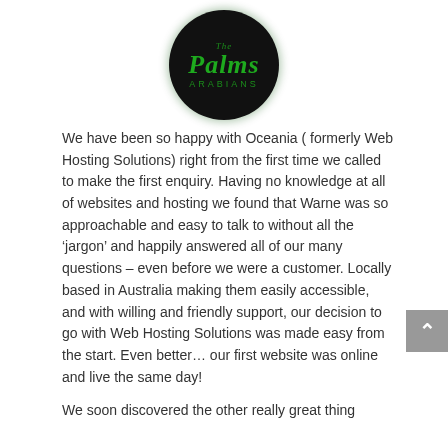[Figure (logo): The Palms Arabians circular logo — black circle background with green italic text reading 'The Palms ARABIANS']
We have been so happy with Oceania ( formerly Web Hosting Solutions) right from the first time we called to make the first enquiry. Having no knowledge at all of websites and hosting we found that Warne was so approachable and easy to talk to without all the ‘jargon’ and happily answered all of our many questions – even before we were a customer. Locally based in Australia making them easily accessible, and with willing and friendly support, our decision to go with Web Hosting Solutions was made easy from the start. Even better… our first website was online and live the same day!
We soon discovered the other really great thing